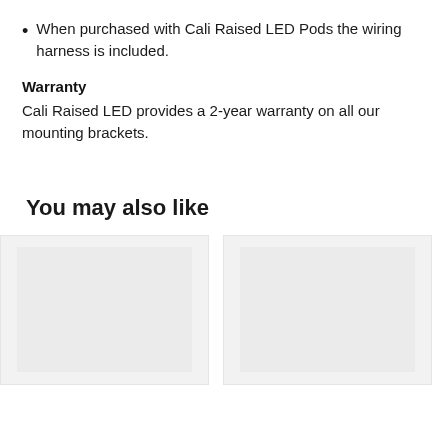When purchased with Cali Raised LED Pods the wiring harness is included.
Warranty
Cali Raised LED provides a 2-year warranty on all our mounting brackets.
You may also like
[Figure (photo): Product card placeholder image 1]
[Figure (photo): Product card placeholder image 2]